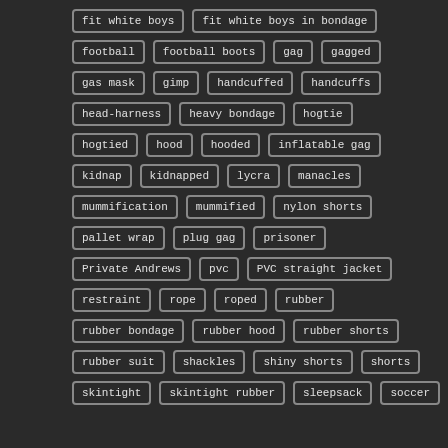fit white boys
fit white boys in bondage
football
football boots
gag
gagged
gas mask
gimp
handcuffed
handcuffs
head-harness
heavy bondage
hogtie
hogtied
hood
hooded
inflatable gag
kidnap
kidnapped
lycra
manacles
mummification
mummified
nylon shorts
pallet wrap
plug gag
prisoner
Private Andrews
pvc
PVC straight jacket
restraint
rope
roped
rubber
rubber bondage
rubber hood
rubber shorts
rubber suit
shackles
shiny shorts
shorts
skintight
skintight rubber
sleepsack
soccer